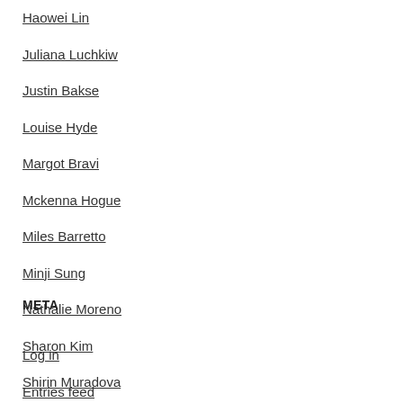Haowei Lin
Juliana Luchkiw
Justin Bakse
Louise Hyde
Margot Bravi
Mckenna Hogue
Miles Barretto
Minji Sung
Nathalie Moreno
Sharon Kim
Shirin Muradova
Vanshika Swaika
META
Log in
Entries feed